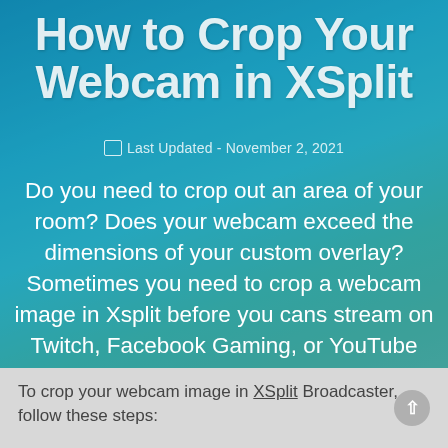How to Crop Your Webcam in XSplit
Last Updated - November 2, 2021
Do you need to crop out an area of your room? Does your webcam exceed the dimensions of your custom overlay? Sometimes you need to crop a webcam image in Xsplit before you cans stream on Twitch, Facebook Gaming, or YouTube Gaming. I'll show you how in this post.
To crop your webcam image in XSplit Broadcaster, follow these steps: